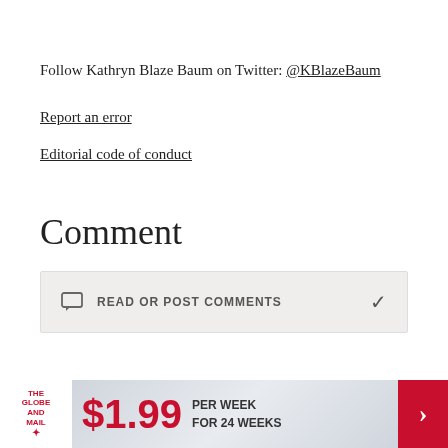Follow Kathryn Blaze Baum on Twitter: @KBlazeBaum
Report an error
Editorial code of conduct
Comment
READ OR POST COMMENTS
Related articles
[Figure (other): The Globe and Mail subscription banner ad: $1.99 per week for 24 weeks]